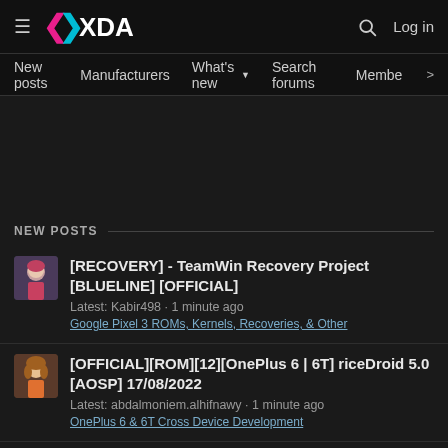XDA Developers — Log in
New posts  Manufacturers  What's new  Search forums  Members >
NEW POSTS
[RECOVERY] - TeamWin Recovery Project [BLUELINE] [OFFICIAL]
Latest: Kabir498 · 1 minute ago
Google Pixel 3 ROMs, Kernels, Recoveries, & Other
[OFFICIAL][ROM][12][OnePlus 6 | 6T] riceDroid 5.0 [AOSP] 17/08/2022
Latest: abdalmoniem.alhifnawy · 1 minute ago
OnePlus 6 & 6T Cross Device Development